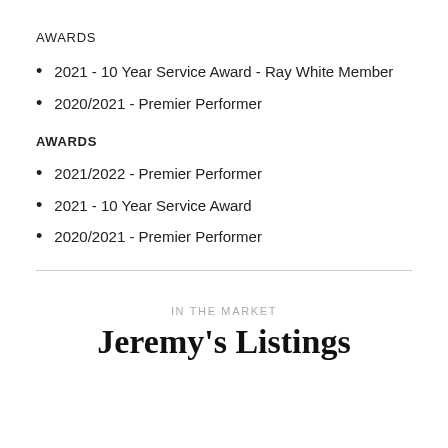AWARDS
2021 - 10 Year Service Award - Ray White Member
2020/2021 - Premier Performer
AWARDS
2021/2022 - Premier Performer
2021 - 10 Year Service Award
2020/2021 - Premier Performer
IN THE MARKET
Jeremy's Listings